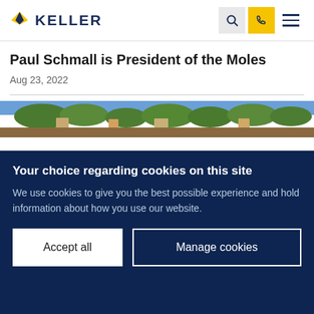KELLER
Paul Schmall is President of the Moles
Aug 23, 2022
[Figure (photo): Aerial or landscape view of a town with trees and buildings]
Your choice regarding cookies on this site
We use cookies to give you the best possible experience and hold information about how you use our website.
Accept all | Manage cookies